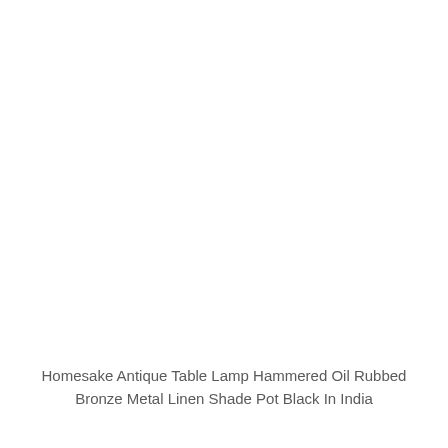[Figure (photo): Empty white space where a product photo would appear — the image area is blank/white.]
Homesake Antique Table Lamp Hammered Oil Rubbed Bronze Metal Linen Shade Pot Black In India